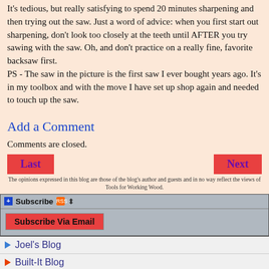It's tedious, but really satisfying to spend 20 minutes sharpening and then trying out the saw. Just a word of advice: when you first start out sharpening, don't look too closely at the teeth until AFTER you try sawing with the saw. Oh, and don't practice on a really fine, favorite backsaw first.
PS - The saw in the picture is the first saw I ever bought years ago. It's in my toolbox and with the move I have set up shop again and needed to touch up the saw.
Add a Comment
Comments are closed.
Last   Next
The opinions expressed in this blog are those of the blog's author and guests and in no way reflect the views of Tools for Working Wood.
Subscribe
Subscribe Via Email
Joel's Blog
Built-It Blog
Video Roundup
Classes & Events